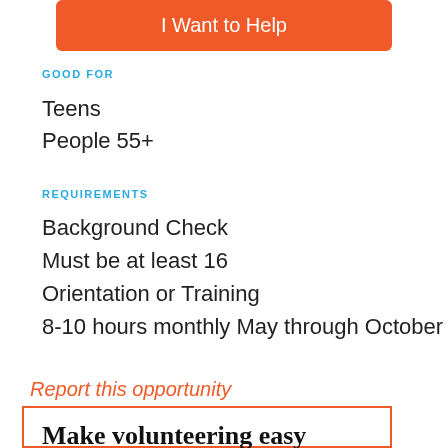[Figure (other): Orange button labeled 'I Want to Help']
GOOD FOR
Teens
People 55+
REQUIREMENTS
Background Check
Must be at least 16
Orientation or Training
8-10 hours monthly May through October
Report this opportunity
Make volunteering easy
Your employees want to give back help them get started